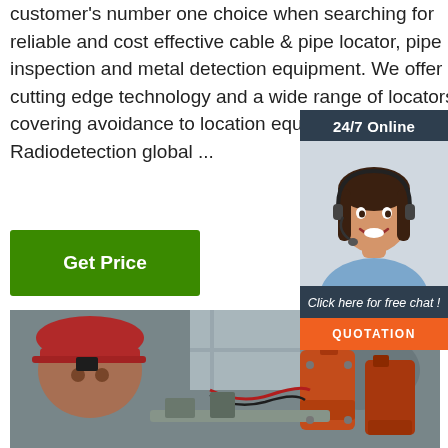customer's number one choice when searching for reliable and cost effective cable & pipe locator, pipe inspection and metal detection equipment. We offer only cutting edge technology and a wide range of locators covering avoidance to location equipment from Radiodetection global ...
[Figure (illustration): Sidebar widget showing a female customer service agent wearing a headset, with '24/7 Online' header, 'Click here for free chat!' text, and a QUOTATION button on orange background]
[Figure (photo): Photo of a worker in a factory/workshop environment with electronic equipment including orange sensor/device components on a workbench]